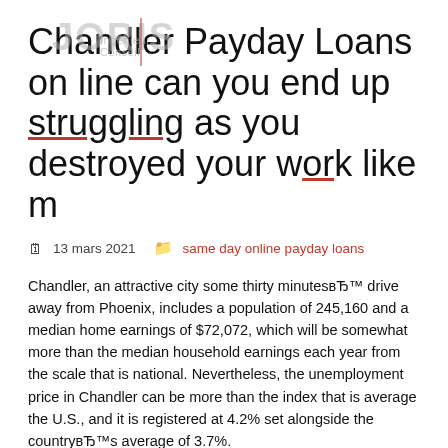Chandler Payday Loans on line can you end up struggling as you destroyed your work like m
13 mars 2021   same day online payday loans
Chandler, an attractive city some thirty minutesвЂ™ drive away from Phoenix, includes a population of 245,160 and a median home earnings of $72,072, which will be somewhat more than the median household earnings each year from the scale that is national. Nevertheless, the unemployment price in Chandler can be more than the index that is average the U.S., and it is registered at 4.2% set alongside the countryвЂ™s average of 3.7%.
Would you find yourself struggling since you